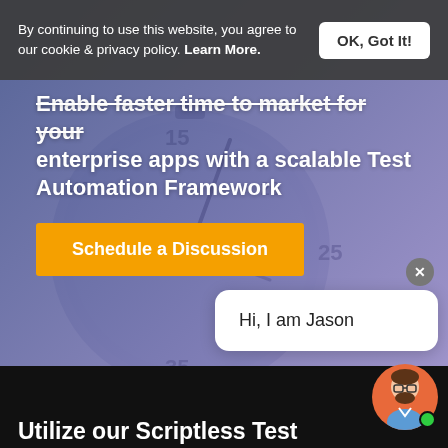By continuing to use this website, you agree to our cookie & privacy policy. Learn More.
OK, Got It!
Enable faster time to market for your enterprise apps with a scalable Test Automation Framework
Schedule a Discussion
Hi, I am Jason
Utilize our Scriptless Test